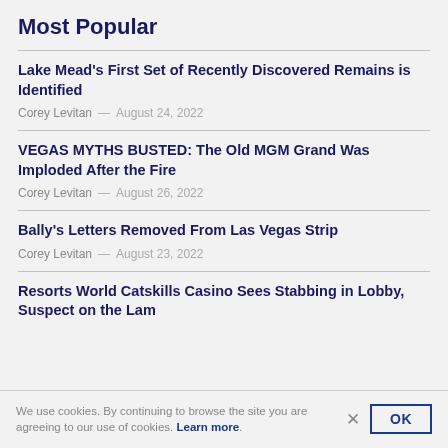Most Popular
Lake Mead's First Set of Recently Discovered Remains is Identified
Corey Levitan — August 24, 2022
VEGAS MYTHS BUSTED: The Old MGM Grand Was Imploded After the Fire
Corey Levitan — August 26, 2022
Bally's Letters Removed From Las Vegas Strip
Corey Levitan — August 23, 2022
Resorts World Catskills Casino Sees Stabbing in Lobby, Suspect on the Lam
We use cookies. By continuing to browse the site you are agreeing to our use of cookies. Learn more.